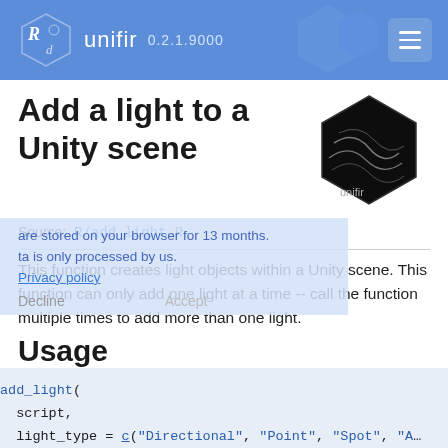unifir 0.2.1.9000
Add a light to a Unity scene
Source: R/add_light.R
This function creates light objects within a Unity scene. This function can only add one light at a time -- call the function multiple times to add more than one light.
Usage
add_light(
  script,
  light_type = c("Directional", "Point", "Spot", "A...
  method_name = NULL,
  light_name = "Light",